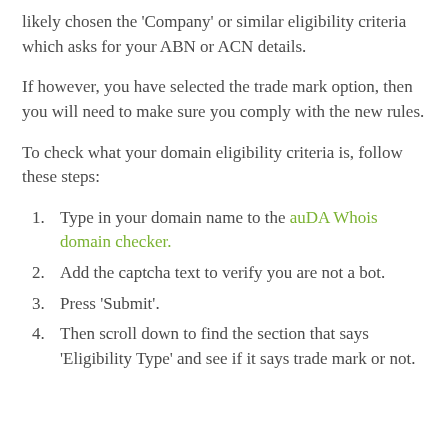likely chosen the 'Company' or similar eligibility criteria which asks for your ABN or ACN details.
If however, you have selected the trade mark option, then you will need to make sure you comply with the new rules.
To check what your domain eligibility criteria is, follow these steps:
1. Type in your domain name to the auDA Whois domain checker.
2. Add the captcha text to verify you are not a bot.
3. Press ‘Submit’.
4. Then scroll down to find the section that says ‘Eligibility Type’ and see if it says trade mark or not.